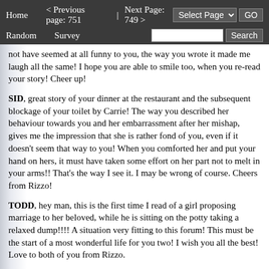Home   < Previous page: 751  |  Next Page: 749 >   Random   Survey   Select Page ▼  GO   Search
not have seemed at all funny to you, the way you wrote it made me laugh all the same! I hope you are able to smile too, when you re-read your story! Cheer up!
SID, great story of your dinner at the restaurant and the subsequent blockage of your toilet by Carrie! The way you described her behaviour towards you and her embarrassment after her mishap, gives me the impression that she is rather fond of you, even if it doesn't seem that way to you! When you comforted her and put your hand on hers, it must have taken some effort on her part not to melt in your arms!! That's the way I see it. I may be wrong of course. Cheers from Rizzo!
TODD, hey man, this is the first time I read of a girl proposing marriage to her beloved, while he is sitting on the potty taking a relaxed dump!!!! A situation very fitting to this forum! This must be the start of a most wonderful life for you two! I wish you all the best! Love to both of you from Rizzo.